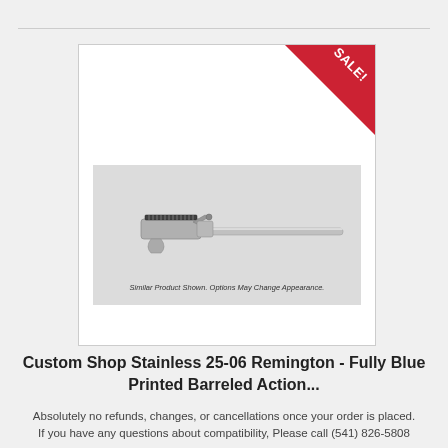[Figure (photo): Product listing card showing a stainless steel barreled action (rifle barrel and action assembly) with a red SALE! corner banner. The product image shows a long slender rifle barreled action in silver/stainless finish with scope rail mounted. Caption overlay reads: Similar Product Shown. Options May Change Appearance.]
Custom Shop Stainless 25-06 Remington - Fully Blue Printed Barreled Action...
Absolutely no refunds, changes, or cancellations once your order is placed. If you have any questions about compatibility, Please call (541) 826-5808